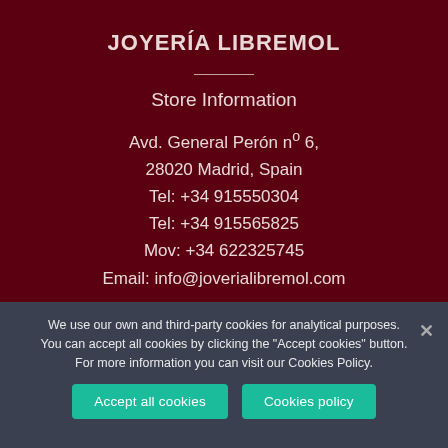JOYERÍA LIBREMOL
Store Information
Avd. General Perón nº 6, 28020 Madrid, Spain
Tel: +34 915550304
Tel: +34 915565825
Mov: +34 622325745
Email: info@joverialibremol.com
We use our own and third-party cookies for analytical purposes. You can accept all cookies by clicking the "Accept cookies" button. For more information you can visit our Cookies Policy.
Accept all cookies
Cookies policy